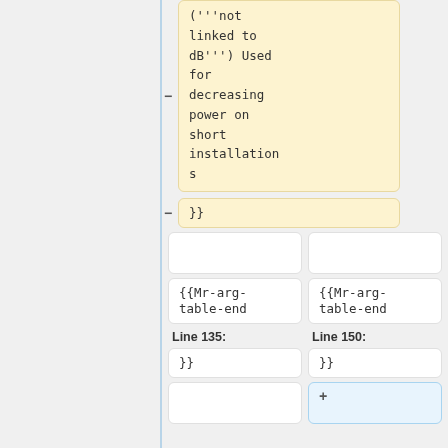('''not linked to dB''') Used for decreasing power on short installations
}}
{{Mr-arg-table-end
{{Mr-arg-table-end
Line 135:
Line 150:
}}
}}